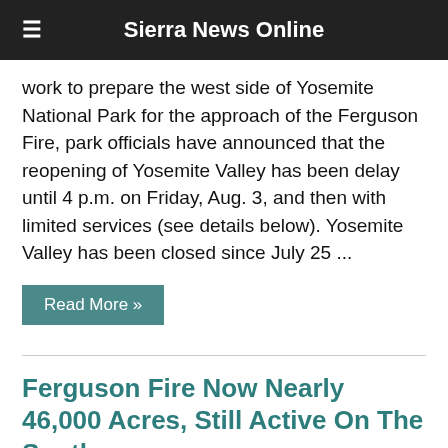Sierra News Online
work to prepare the west side of Yosemite National Park for the approach of the Ferguson Fire, park officials have announced that the reopening of Yosemite Valley has been delay until 4 p.m. on Friday, Aug. 3, and then with limited services (see details below). Yosemite Valley has been closed since July 25 ...
Read More »
Ferguson Fire Now Nearly 46,000 Acres, Still Active On The South
gina clugston   July 27, 2018
[Figure (photo): Thumbnail image related to Ferguson Fire article]